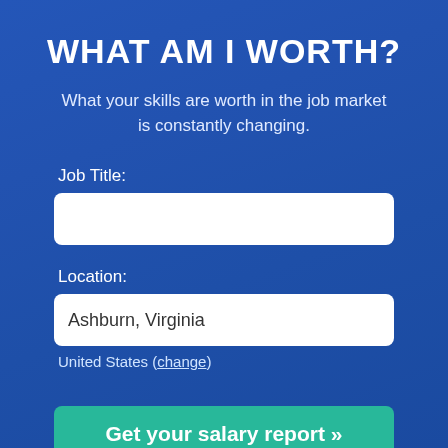WHAT AM I WORTH?
What your skills are worth in the job market is constantly changing.
Job Title:
Location:
Ashburn, Virginia
United States (change)
Get your salary report »